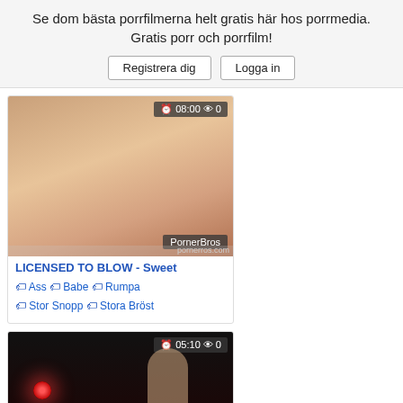Se dom bästa porrfilmerna helt gratis här hos porrmedia. Gratis porr och porrfilm!
Registrera dig   Logga in
[Figure (photo): Video thumbnail with overlay showing 08:00 and 0 views, PornerBros watermark]
LICENSED TO BLOW - Sweet
Ass Babe Rumpa Stor Snopp Stora Bröst
[Figure (photo): Video thumbnail with overlay showing 05:10 and 0 views, PornerBros watermark, dark background with red light]